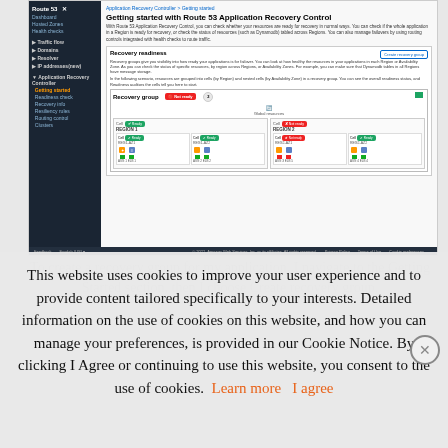[Figure (screenshot): AWS Console screenshot showing 'Getting started with Route 53 Application Recovery Control' page. Includes a sidebar with navigation items (Route 53, Dashboard, Hosted Zones, Health checks, Traffic flow, Domains, Resolver, IP addresses, Application Recovery Controller with Getting Started highlighted). Main content shows page title, intro text, Recovery readiness section with a recovery group diagram showing REGION 1 (Cell with Ready badge, two cells REG1-AZ1 and REG1-AZ2 each with resources ASG and ELB) and REGION 2 (Cell with Not ready badge, two cells REG2-AZ1 and REG2-AZ2). AWS dark footer bar at bottom.]
This website uses cookies to improve your user experience and to provide content tailored specifically to your interests. Detailed information on the use of cookies on this website, and how you can manage your preferences, is provided in our Cookie Notice. By clicking I Agree or continuing to use this website, you consent to the use of cookies.
To create a recovery group for my application, I navigate to the Getting Started section, then I choose Create recovery group.
Learn more
I agree